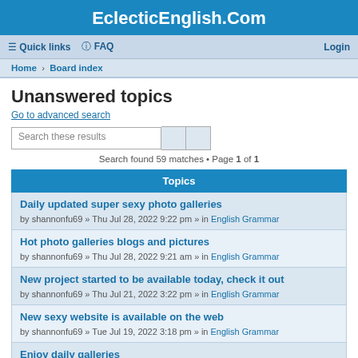EclecticEnglish.Com
≡ Quick links  ? FAQ  Login
Home › Board index
Unanswered topics
Go to advanced search
Search these results
Search found 59 matches • Page 1 of 1
Topics
Daily updated super sexy photo galleries
by shannonfu69 » Thu Jul 28, 2022 9:22 pm » in English Grammar
Hot photo galleries blogs and pictures
by shannonfu69 » Thu Jul 28, 2022 9:21 am » in English Grammar
New project started to be available today, check it out
by shannonfu69 » Thu Jul 21, 2022 3:22 pm » in English Grammar
New sexy website is available on the web
by shannonfu69 » Tue Jul 19, 2022 3:18 pm » in English Grammar
Enjoy daily galleries
by shannonfu69 » Tue Jul 19, 2022 7:18 am » in English Grammar